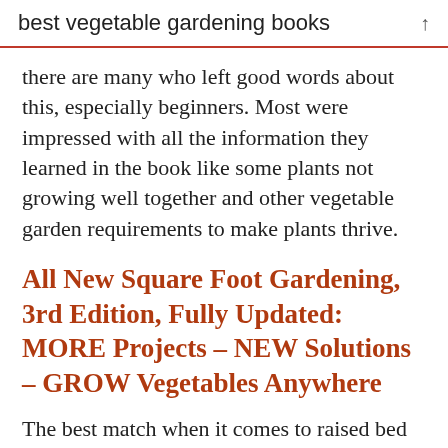best vegetable gardening books
there are many who left good words about this, especially beginners. Most were impressed with all the information they learned in the book like some plants not growing well together and other vegetable garden requirements to make plants thrive.
All New Square Foot Gardening, 3rd Edition, Fully Updated: MORE Projects – NEW Solutions – GROW Vegetables Anywhere
The best match when it comes to raised bed gardening is square foot gardening, and this